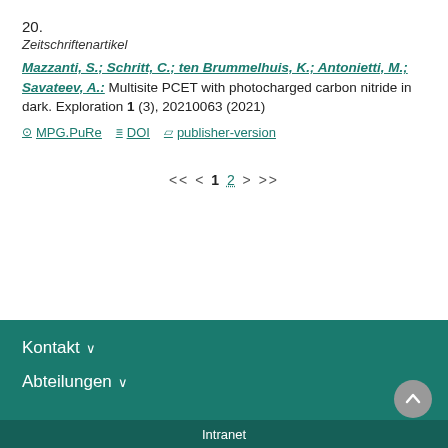20.
Zeitschriftenartikel
Mazzanti, S.; Schritt, C.; ten Brummelhuis, K.; Antonietti, M.; Savateev, A.: Multisite PCET with photocharged carbon nitride in dark. Exploration 1 (3), 20210063 (2021)
MPG.PuRe   DOI   publisher-version
<< < 1 2 > >>
Kontakt
Abteilungen
Intranet